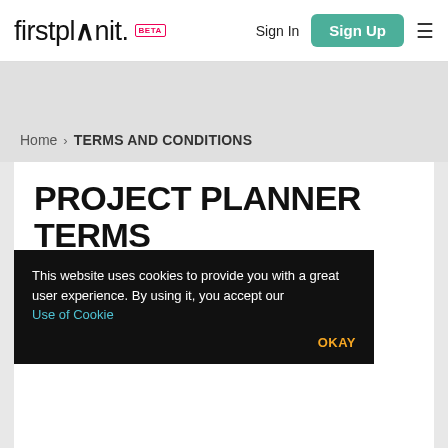firstplanit. BETA | Sign In | Sign Up
Home > TERMS AND CONDITIONS
PROJECT PLANNER TERMS AND CONDITIONS
[Figure (screenshot): Cookie consent banner: 'This website uses cookies to provide you with a great user experience. By using it, you accept our Use of Cookie' with OKAY button]
PLEASE READ THESE TERMS AND CONDITIONS CAREFULLY BEFORE USING THIS SITE
1   What's in these terms?
[Figure (screenshot): Chat popup showing 'We're offline - Leave a message' with blue chat bubble button]